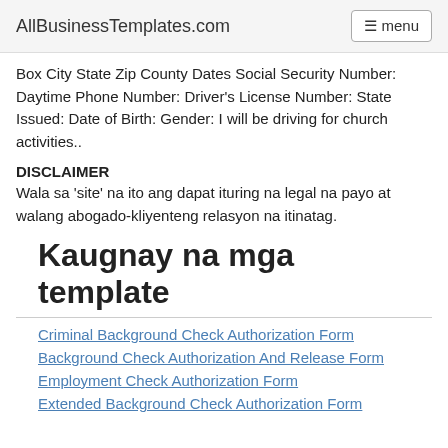AllBusinessTemplates.com  menu
Box City State Zip County Dates Social Security Number: Daytime Phone Number: Driver's License Number: State Issued: Date of Birth: Gender: I will be driving for church activities..
DISCLAIMER
Wala sa 'site' na ito ang dapat ituring na legal na payo at walang abogado-kliyenteng relasyon na itinatag.
Kaugnay na mga template
Criminal Background Check Authorization Form
Background Check Authorization And Release Form
Employment Check Authorization Form
Extended Background Check Authorization Form